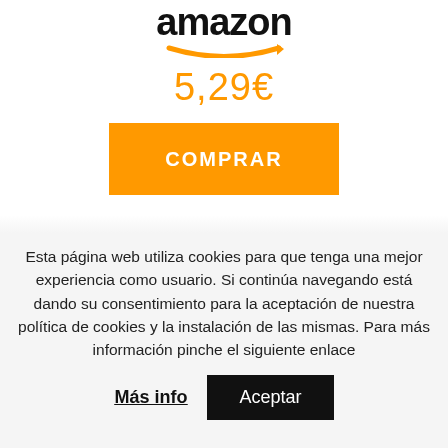[Figure (logo): Amazon logo — black stylized wordmark with orange arrow underneath]
5.29€
COMPRAR
Esta página web utiliza cookies para que tenga una mejor experiencia como usuario. Si continúa navegando está dando su consentimiento para la aceptación de nuestra política de cookies y la instalación de las mismas. Para más información pinche el siguiente enlace
Más info
Aceptar